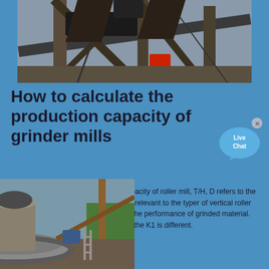[Figure (photo): Industrial grinding mill machinery photographed from below showing steel frame structure, conveyor belts, and equipment components against overcast sky]
How to calculate the production capacity of grinder mills
[Figure (other): Live Chat speech bubble button with 'x' close icon in upper right]
G=K1D2.5 (G refers to the grinder capacity of roller mill, T/H, D refers to the diameter M, K1 is coefficient, which is relevant to the typer of vertical roller mill, the selected and used pressure, the performance of grinded material. Different specification of roller mill, so the K1 is different.
[Figure (photo): Industrial vertical roller mill photographed from above showing the grinding table, rollers, and surrounding steel structure and industrial equipment]